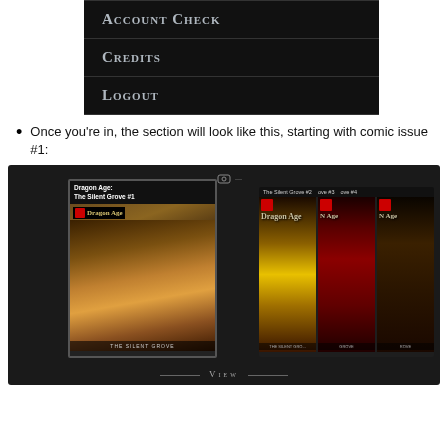[Figure (screenshot): Dark-themed menu showing Account Check, Credits, and Logout options with light-colored small-caps text on black background]
Once you're in, the section will look like this, starting with comic issue #1:
[Figure (screenshot): Dark-themed comic reader interface showing Dragon Age: The Silent Grove #1 comic book cover prominently displayed, with additional issue thumbnails (The Silent Grove #2, #3, #4) visible to the right, and a 'View' navigation label at the bottom]